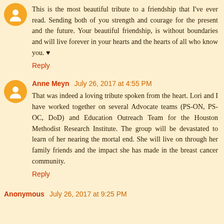This is the most beautiful tribute to a friendship that I've ever read. Sending both of you strength and courage for the present and the future. Your beautiful friendship, is without boundaries and will live forever in your hearts and the hearts of all who know you. ♥
Reply
Anne Meyn  July 26, 2017 at 4:55 PM
That was indeed a loving tribute spoken from the heart. Lori and I have worked together on several Advocate teams (PS-ON, PS-OC, DoD) and Education Outreach Team for the Houston Methodist Research Institute. The group will be devastated to learn of her nearing the mortal end. She will live on through her family friends and the impact she has made in the breast cancer community.
Reply
Anonymous  July 26, 2017 at 9:25 PM